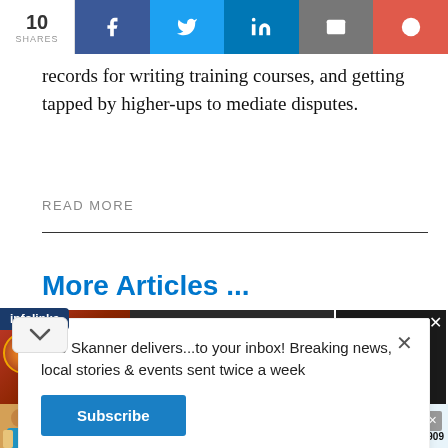10 SHARES | f | Twitter | in | email | +
records for writing training courses, and getting tapped by higher-ups to mediate disputes.
READ MORE
More Articles ...
The Skanner delivers...to your inbox! Breaking news, local stories & events sent twice a week
[Figure (screenshot): Seamless food delivery advertisement showing pizza image, Seamless logo, and ORDER NOW button]
[Figure (screenshot): Constant Staffing advertisement: ESTAMOS CONTRATANDO, BILINGUES, listing TRABAJADORES DE BODEGA, EMPACADORES, PERSONAL ADMINISTRATIVO, phone 713-714-8909]